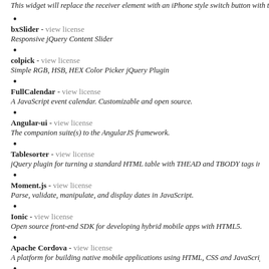This widget will replace the receiver element with an iPhone style switch button with t
bxSlider - view license
Responsive jQuery Content Slider
colpick - view license
Simple RGB, HSB, HEX Color Picker jQuery Plugin
FullCalendar - view license
A JavaScript event calendar. Customizable and open source.
Angular-ui - view license
The companion suite(s) to the AngularJS framework.
Tablesorter - view license
jQuery plugin for turning a standard HTML table with THEAD and TBODY tags into e
Moment.js - view license
Parse, validate, manipulate, and display dates in JavaScript.
Ionic - view license
Open source front-end SDK for developing hybrid mobile apps with HTML5.
Apache Cordova - view license
A platform for building native mobile applications using HTML, CSS and JavaScript
Font Awesome - view license
Font Awesome gives you scalable vector icons that can instantly be customized â€" siz
Animate.css - view license
Just-add-water CSS animations
Node.js - view license
Node.js is a platform built on Chrome's JavaScript runtime for easily building fast, sco